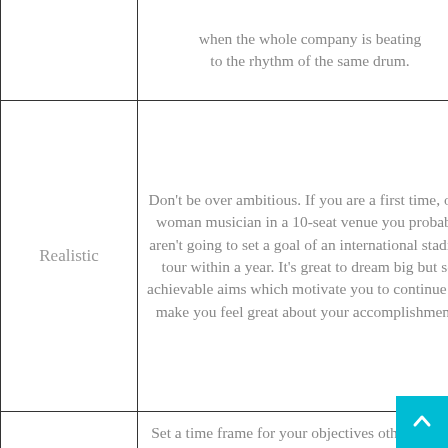| Category | Description |
| --- | --- |
|  | when the whole company is beating to the rhythm of the same drum. |
| Realistic | Don't be over ambitious.  If you are a first time, one-woman musician in a 10-seat venue you probably aren't going to set a goal of an international stadium tour within a year.  It's great to dream big but set achievable aims which motivate you to continue and make you feel great about your accomplishments. |
| Timely | Set a time frame for your objectives otherwise they won't be deemed as 'urgent' and will slip by the wayside.  If your objective is 'Get 200 social media followers before the end of... |